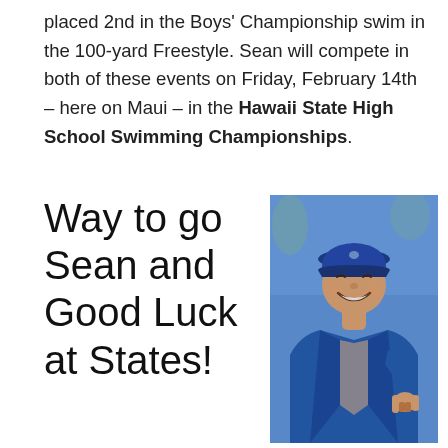placed 2nd in the Boys' Championship swim in the 100-yard Freestyle. Sean will compete in both of these events on Friday, February 14th – here on Maui – in the Hawaii State High School Swimming Championships.
Way to go Sean and Good Luck at States!
[Figure (photo): A smiling young man wearing a blue baseball cap and blue jacket, making a shaka hand gesture.]